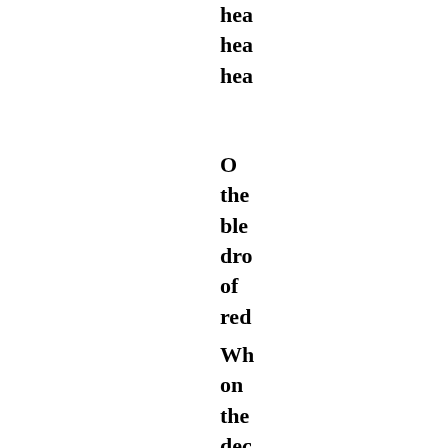hea
hea
hea
O
the
ble
dro
of
red
Wh
on
the
dec
my
Ca
lies
Fal
col
and
dea